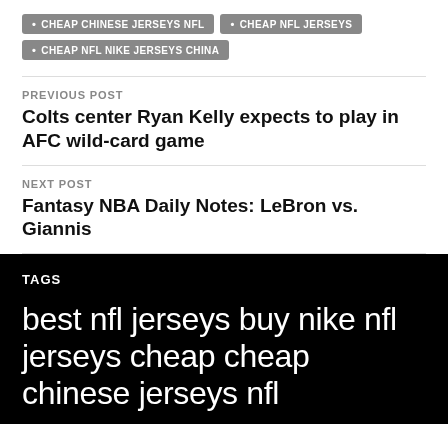CHEAP CHINESE JERSEYS NFL
CHEAP NFL JERSEYS
CHEAP NFL NIKE JERSEYS CHINA
PREVIOUS POST
Colts center Ryan Kelly expects to play in AFC wild-card game
NEXT POST
Fantasy NBA Daily Notes: LeBron vs. Giannis
TAGS
best nfl jerseys buy nike nfl jerseys cheap cheap chinese jerseys nfl